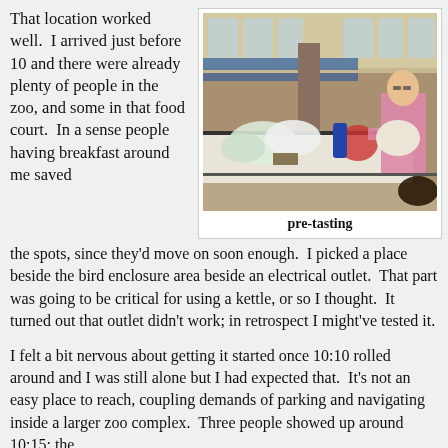That location worked well.  I arrived just before 10 and there were already plenty of people in the zoo, and some in that food court.  In a sense people having breakfast around me saved
[Figure (photo): Indoor food court with blue chairs and tables; a woman in a pink shirt sits at a table covered with plastic bags and items; a large pillar is visible in the center background.]
pre-tasting
the spots, since they'd move on soon enough.  I picked a place beside the bird enclosure area beside an electrical outlet.  That part was going to be critical for using a kettle, or so I thought.  It turned out that outlet didn't work; in retrospect I might've tested it.
I felt a bit nervous about getting it started once 10:10 rolled around and I was still alone but I had expected that.  It's not an easy place to reach, coupling demands of parking and navigating inside a larger zoo complex.  Three people showed up around 10:15; the